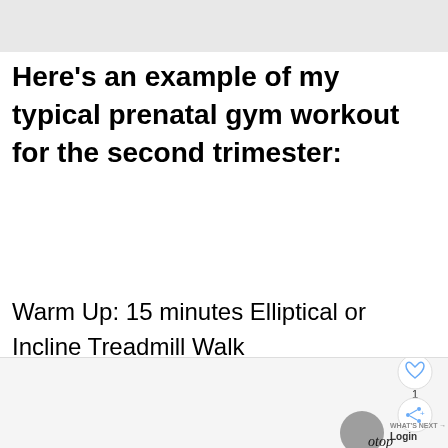[Figure (screenshot): Top gray image bar placeholder]
Here's an example of my typical prenatal gym workout for the second trimester:
Warm Up: 15 minutes Elliptical or Incline Treadmill Walk
[Figure (screenshot): Bottom section with UI overlay elements: heart/like button, share button, what's next login prompt, and otop logo]